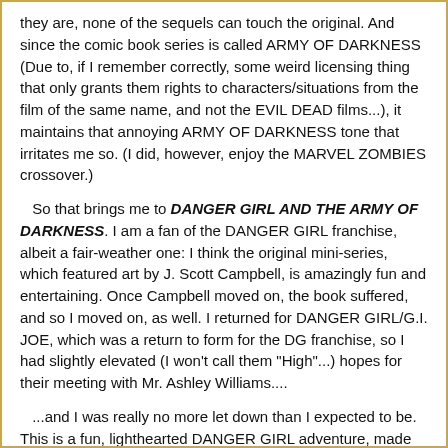they are, none of the sequels can touch the original. And since the comic book series is called ARMY OF DARKNESS (Due to, if I remember correctly, some weird licensing thing that only grants them rights to characters/situations from the film of the same name, and not the EVIL DEAD films...), it maintains that annoying ARMY OF DARKNESS tone that irritates me so. (I did, however, enjoy the MARVEL ZOMBIES crossover.)
So that brings me to DANGER GIRL AND THE ARMY OF DARKNESS. I am a fan of the DANGER GIRL franchise, albeit a fair-weather one: I think the original mini-series, which featured art by J. Scott Campbell, is amazingly fun and entertaining. Once Campbell moved on, the book suffered, and so I moved on, as well. I returned for DANGER GIRL/G.I. JOE, which was a return to form for the DG franchise, so I had slightly elevated (I won't call them "High"...) hopes for their meeting with Mr. Ashley Williams....
...and I was really no more let down than I expected to be. This is a fun, lighthearted DANGER GIRL adventure, made slightly annoying by it's regurgitation of tired ARMY OF